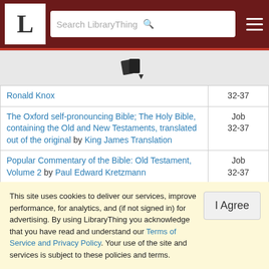LibraryThing - Search LibraryThing
[Figure (logo): LibraryThing logo with book/document icon]
| Book Title / Author | Reference |
| --- | --- |
| Ronald Knox | 32-37 |
| The Oxford self-pronouncing Bible; The Holy Bible, containing the Old and New Testaments, translated out of the original by King James Translation | Job 32-37 |
| Popular Commentary of the Bible: Old Testament, Volume 2 by Paul Edward Kretzmann | Job 32-37 |
| The Preacher's Commentary-Vol. 12- Job by David I. McKenna | Job 32-37 |
| The Reformation Study Bible: English Standard... | Job |
This site uses cookies to deliver our services, improve performance, for analytics, and (if not signed in) for advertising. By using LibraryThing you acknowledge that you have read and understand our Terms of Service and Privacy Policy. Your use of the site and services is subject to these policies and terms.